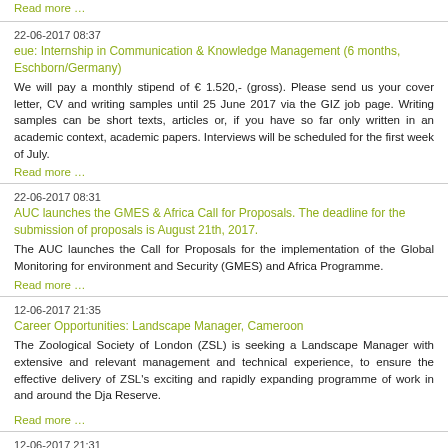Read more …
22-06-2017 08:37
eue: Internship in Communication & Knowledge Management (6 months, Eschborn/Germany)
We will pay a monthly stipend of € 1.520,- (gross). Please send us your cover letter, CV and writing samples until 25 June 2017 via the GIZ job page. Writing samples can be short texts, articles or, if you have so far only written in an academic context, academic papers. Interviews will be scheduled for the first week of July.
Read more …
22-06-2017 08:31
AUC launches the GMES & Africa Call for Proposals. The deadline for the submission of proposals is August 21th, 2017.
The AUC launches the Call for Proposals for the implementation of the Global Monitoring for environment and Security (GMES) and Africa Programme.
Read more …
12-06-2017 21:35
Career Opportunities: Landscape Manager, Cameroon
The Zoological Society of London (ZSL) is seeking a Landscape Manager with extensive and relevant management and technical experience, to ensure the effective delivery of ZSL's exciting and rapidly expanding programme of work in and around the Dja Reserve.
Read more …
12-06-2017 21:31
Career Opportunities: Regional Programme Manager, Wildlife Programmes
Conservation International is looking for an innovative Regional Programme…